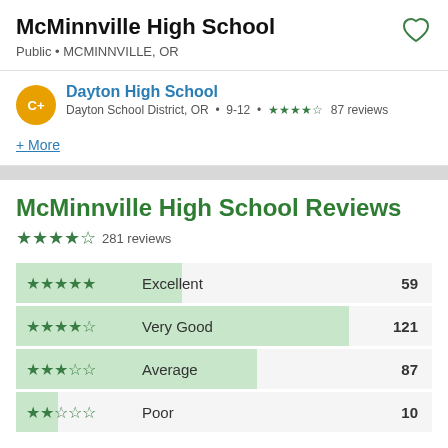McMinnville High School
Public • MCMINNVILLE, OR
Dayton High School
Dayton School District, OR • 9-12 • ★★★★☆ 87 reviews
+ More
McMinnville High School Reviews
★★★★☆ 281 reviews
| Rating | Label | Count |
| --- | --- | --- |
| ★★★★★ | Excellent | 59 |
| ★★★★☆ | Very Good | 121 |
| ★★★☆☆ | Average | 87 |
| ★★☆☆☆ | Poor | 10 |